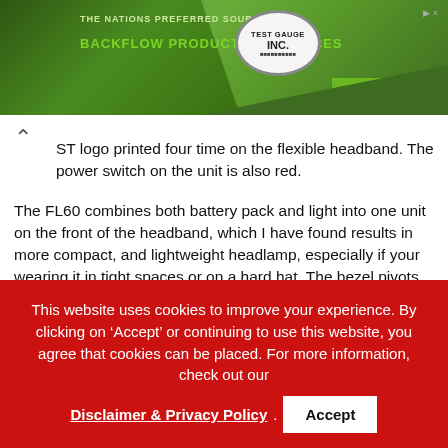[Figure (other): Banner advertisement for backflow products and services featuring Test Gauge Inc. logo, green background with diagonal shapes and a Shop Today button]
ST logo printed four time on the flexible headband. The power switch on the unit is also red.
The FL60 combines both battery pack and light into one unit on the front of the headband, which I have found results in more compact, and lightweight headlamp, especially if your wearing it in tight spaces or on a hard hat. The bezel pivots on a dual pin-hinge from 90-degrees straight ahead to approximately 45-degrees down. This adjustment fast, easy and I found myself using the tilt adjustment when I needed to see better in close-up tasks, such as, changing fastening bits or reciprocating blades in a dark space.
USING THE COAST FL60 LED HEADLAMP
The FL60 is “simple-stupid” easy to use with one power button cycle
This website uses cookies to improve your experience. By clicking on ‘Accept’ or continuing to use this website, you agree that cookies can be placed. For more information, check out our
Disclaimer & Privacy Policy . Accept